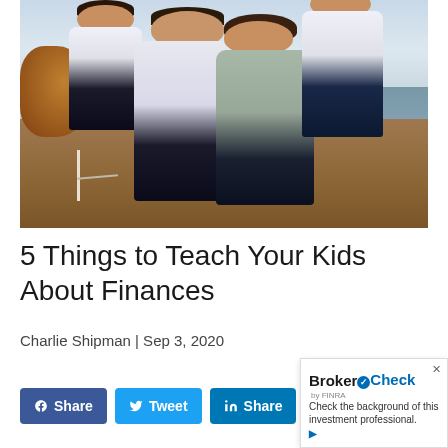[Figure (photo): Family photo of two parents with two young children outdoors near water with autumn foliage in background. Man holds a toddler on his left, woman holds an older boy on her right. All wearing white tops.]
5 Things to Teach Your Kids About Finances
Charlie Shipman | Sep 3, 2020
[Figure (other): BrokerCheck by FINRA widget. Text reads: Check the background of this investment professional.]